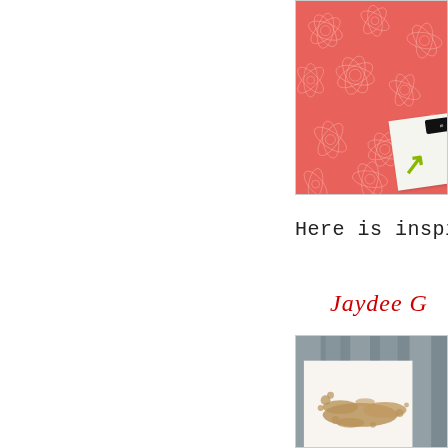[Figure (photo): Crafting card photo showing coral/red floral patterned paper with white floral outline design, and a white card with a green arrow or initial, and a small black label tag. Image is partially cropped on the right side.]
Here is inspiration
Jaydee G
[Figure (photo): Crafting card photo showing a white card with brown/tan ink splatter or coffee stain design, placed on a gray/blue background.]